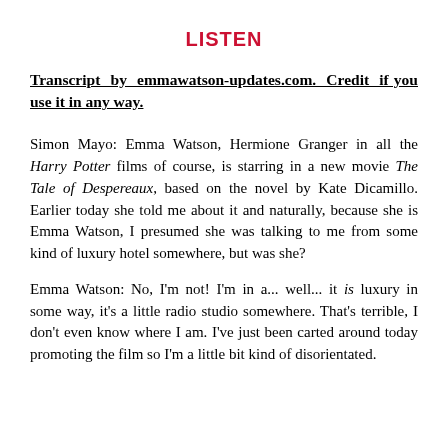LISTEN
Transcript by emmawatson-updates.com. Credit if you use it in any way.
Simon Mayo: Emma Watson, Hermione Granger in all the Harry Potter films of course, is starring in a new movie The Tale of Despereaux, based on the novel by Kate Dicamillo. Earlier today she told me about it and naturally, because she is Emma Watson, I presumed she was talking to me from some kind of luxury hotel somewhere, but was she?
Emma Watson: No, I'm not! I'm in a... well... it is luxury in some way, it's a little radio studio somewhere. That's terrible, I don't even know where I am. I've just been carted around today promoting the film so I'm a little bit kind of disorientated.